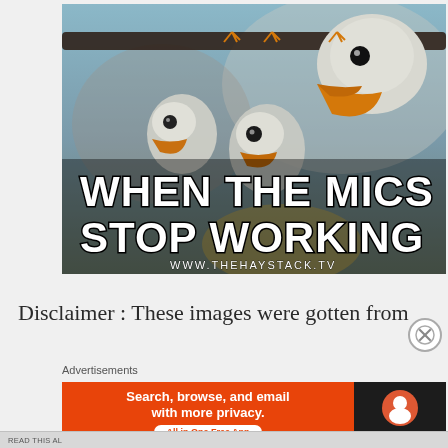[Figure (photo): Meme image showing animated/cartoon seagulls (resembling the 'Mine' seagulls from Finding Nemo) with bold white text overlay reading 'WHEN THE MICS STOP WORKING' and URL 'WWW.THEHAYSTACK.TV' below]
Disclaimer : These images were gotten from
[Figure (screenshot): DuckDuckGo advertisement banner. Left side orange with text 'Search, browse, and email with more privacy.' and 'All in One Free App' pill button. Right side dark with DuckDuckGo logo and name.]